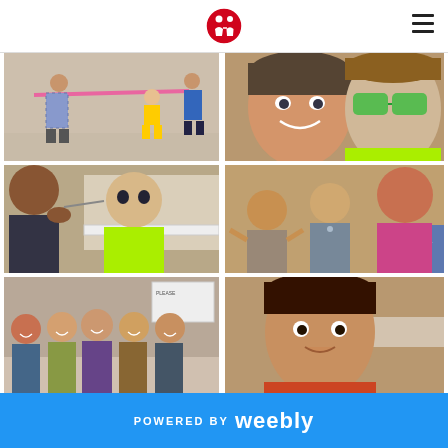Navigation header with logo and hamburger menu
[Figure (photo): Children doing limbo or hula hoop activity indoors at an event]
[Figure (photo): Selfie of a woman and a child wearing green sunglasses]
[Figure (photo): A boy getting his face painted at an event]
[Figure (photo): Children and adults at a karaoke or dance activity]
[Figure (photo): Group of women posing together at an event]
[Figure (photo): Close-up of a young girl at an indoor event]
POWERED BY weebly